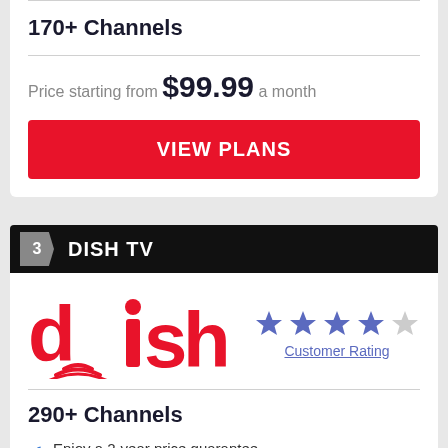170+ Channels
Price starting from $99.99 a month
VIEW PLANS
3 DISH TV
[Figure (logo): DISH logo in pink/red stylized text]
Customer Rating - 4 out of 5 stars
290+ Channels
Enjoy a 2-year price guarantee.